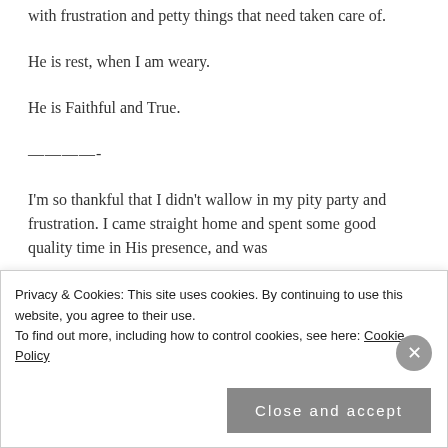with frustration and petty things that need taken care of.
He is rest, when I am weary.
He is Faithful and True.
————-
I'm so thankful that I didn't wallow in my pity party and frustration. I came straight home and spent some good quality time in His presence, and was
Privacy & Cookies: This site uses cookies. By continuing to use this website, you agree to their use.
To find out more, including how to control cookies, see here: Cookie Policy
Close and accept